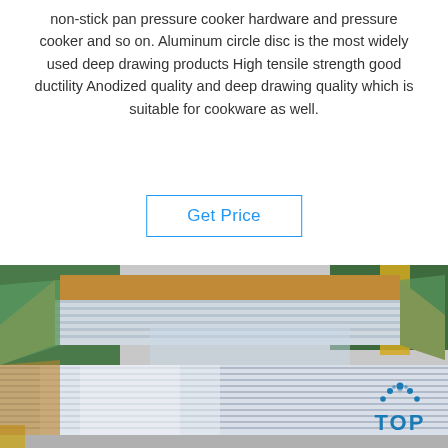non-stick pan pressure cooker hardware and pressure cooker and so on. Aluminum circle disc is the most widely used deep drawing products High tensile strength good ductility Anodized quality and deep drawing quality which is suitable for cookware as well.
Get Price
[Figure (photo): Photograph of stacked aluminum sheets/discs packaged with cardboard and plastic wrap, shown in a warehouse or factory setting. A 'TOP' logo watermark appears in the lower-right corner.]